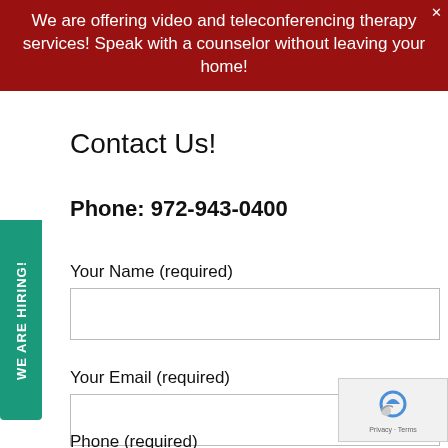We are offering video and teleconferencing therapy services! Speak with a counselor without leaving your home!
Contact Us!
Phone: 972-943-0400
WE ARE HIRING!
Your Name (required)
Your Email (required)
Phone (required)